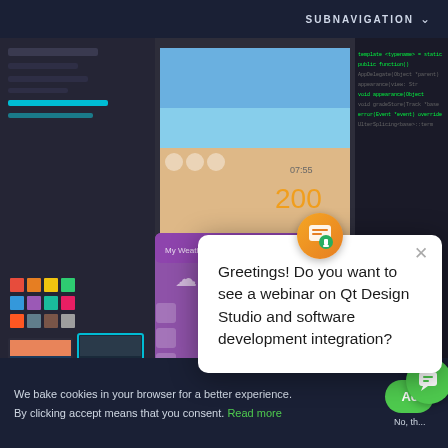SUBNAVIGATION ⌄
[Figure (screenshot): Dark IDE/design environment screenshot showing Qt Design Studio interface with code editor panels, UI designer with weather app mockup showing '200' and '07:55', color palettes, and property panels. A purple/pink weather app UI is visible in the foreground.]
Greetings! Do you want to see a webinar on Qt Design Studio and software development integration?
We bake cookies in your browser for a better experience. By clicking accept means that you consent. Read more